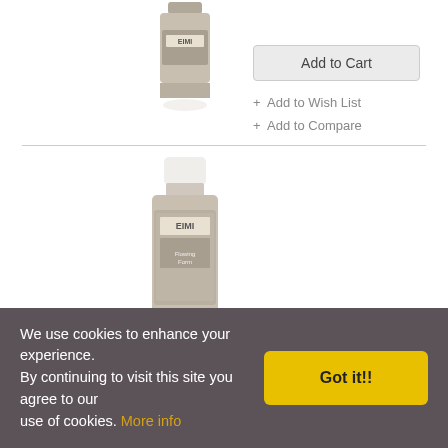[Figure (photo): EIMI hair product spray bottle, partially cropped at top]
EIMI Flexible Finish
£7.35
[Figure (photo): EIMI Flowing Form hair product bottle, full view]
Add to Cart
+ Add to Wish List
+ Add to Compare
EIMI Flowing Form
£6.89
We use cookies to enhance your experience. By continuing to visit this site you agree to our use of cookies. More info
Got it!!